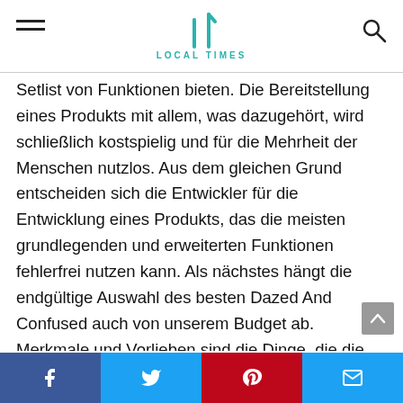LOCAL TIMES
Setlist von Funktionen bieten. Die Bereitstellung eines Produkts mit allem, was dazugehört, wird schließlich kostspielig und für die Mehrheit der Menschen nutzlos. Aus dem gleichen Grund entscheiden sich die Entwickler für die Entwicklung eines Produkts, das die meisten grundlegenden und erweiterten Funktionen fehlerfrei nutzen kann. Als nächstes hängt die endgültige Auswahl des besten Dazed And Confused auch von unserem Budget ab. Merkmale und Vorlieben sind die Dinge, die die Mehrheit der Verbraucher bei der endgültigen Auswahl gerne abgleicht. Ein Produkt, das für Sie ziemlich nützlich und